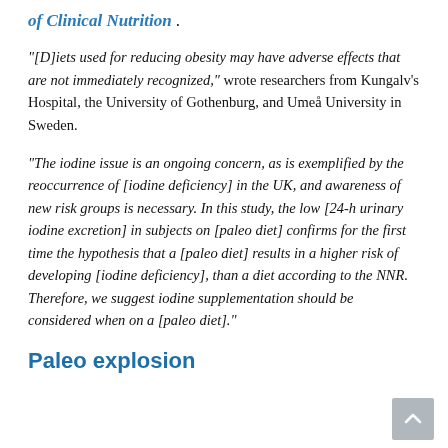of Clinical Nutrition .
“[D]iets used for reducing obesity may have adverse effects that are not immediately recognized,” wrote researchers from Kungalv’s Hospital, the University of Gothenburg, and Umeå University in Sweden.
“The iodine issue is an ongoing concern, as is exemplified by the reoccurrence of [iodine deficiency] in the UK, and awareness of new risk groups is necessary. In this study, the low [24-h urinary iodine excretion] in subjects on [paleo diet] confirms for the first time the hypothesis that a [paleo diet] results in a higher risk of developing [iodine deficiency], than a diet according to the NNR. Therefore, we suggest iodine supplementation should be considered when on a [paleo diet].”
Paleo explosion